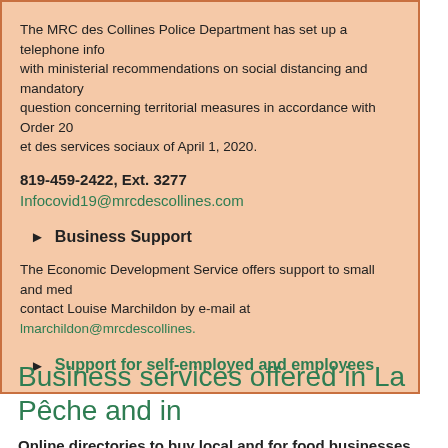The MRC des Collines Police Department has set up a telephone info line with ministerial recommendations on social distancing and mandatory question concerning territorial measures in accordance with Order 20 et des services sociaux of April 1, 2020.
819-459-2422, Ext. 3277
Infocovid19@mrcdescollines.com
Business Support
The Economic Development Service offers support to small and med contact Louise Marchildon by e-mail at lmarchildon@mrcdescollines.
Support for self-employed and employees
Business services offered in La Pêche and in
Online directories to buy local and for food businesses